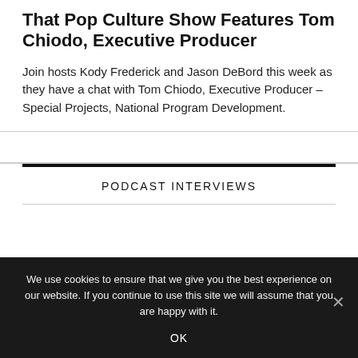That Pop Culture Show Features Tom Chiodo, Executive Producer
Join hosts Kody Frederick and Jason DeBord this week as they have a chat with Tom Chiodo, Executive Producer – Special Projects, National Program Development.
PODCAST INTERVIEWS
We use cookies to ensure that we give you the best experience on our website. If you continue to use this site we will assume that you are happy with it.
OK